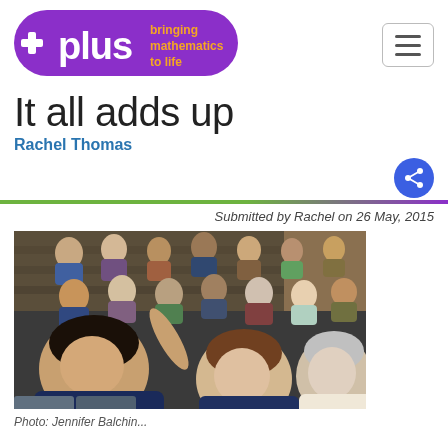[Figure (logo): Plus magazine logo — purple pill shape with white 'plus' text and orange tagline 'bringing mathematics to life']
It all adds up
Rachel Thomas
Submitted by Rachel on 26 May, 2015
[Figure (photo): Audience in a lecture hall, predominantly women, some raising hands or taking notes. A student in the foreground is raising her hand.]
Photo: Jennifer Balchin...